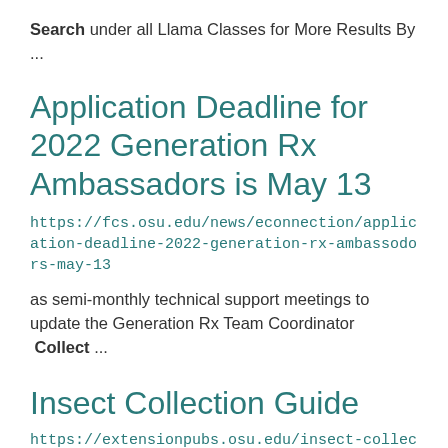Search under all Llama Classes for More Results By ...
Application Deadline for 2022 Generation Rx Ambassadors is May 13
https://fcs.osu.edu/news/econnection/application-deadline-2022-generation-rx-ambassodors-may-13
as semi-monthly technical support meetings to update the Generation Rx Team Coordinator  Collect ...
Insect Collection Guide
https://extensionpubs.osu.edu/insect-collection-